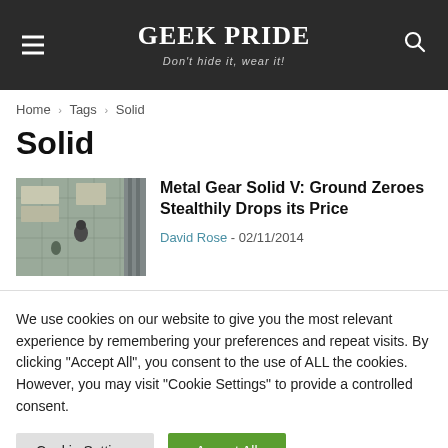GEEK PRIDE — Don't hide it, wear it!
Home › Tags › Solid
Solid
[Figure (photo): Top-down aerial view screenshot from Metal Gear Solid V: Ground Zeroes showing a stealth scene]
Metal Gear Solid V: Ground Zeroes Stealthily Drops its Price
David Rose - 02/11/2014
We use cookies on our website to give you the most relevant experience by remembering your preferences and repeat visits. By clicking "Accept All", you consent to the use of ALL the cookies. However, you may visit "Cookie Settings" to provide a controlled consent.